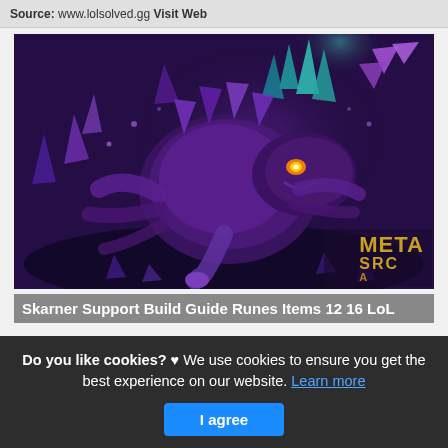Source: www.lolsolved.gg Visit Web
[Figure (illustration): Dark fantasy game artwork showing Skarner, a scorpion-like creature character from League of Legends, with purple crystal elements and dark blue-purple background. METAsrc watermark in gold letters at bottom right.]
Skarner Support Build Guide Runes Items 12 16 LoL
This is actually a post or even picture around the Skarner Support Build Guide Runes Items 12 16 LoL METAsrc, if you
Do you like cookies? ♥ We use cookies to ensure you get the best experience on our website. Learn more
I agree